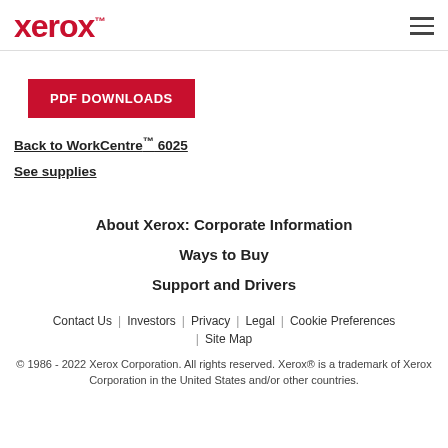xerox™
PDF DOWNLOADS
Back to WorkCentre™ 6025
See supplies
About Xerox: Corporate Information
Ways to Buy
Support and Drivers
Contact Us | Investors | Privacy | Legal | Cookie Preferences | Site Map
© 1986 - 2022 Xerox Corporation. All rights reserved. Xerox® is a trademark of Xerox Corporation in the United States and/or other countries.